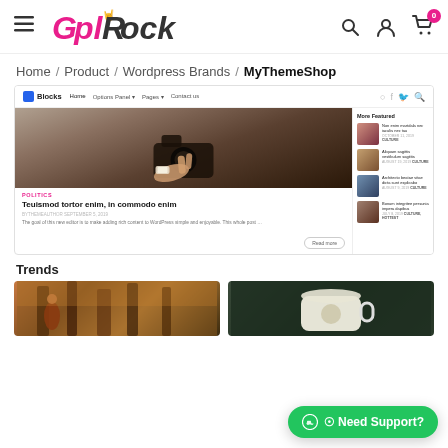GplRock site header with hamburger menu, logo, search, account, and cart icons
Home / Product / Wordpress Brands / MyThemeShop
[Figure (screenshot): Screenshot of a WordPress blog theme called Blocks showing a hero image of a woman holding a camera, article titled 'Teuismod tortor enim, in commodo enim', sidebar with More Featured articles, and a Trends section with two photo thumbnails at the bottom.]